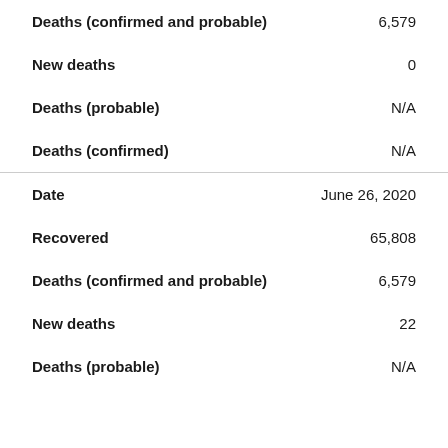| Field | Value |
| --- | --- |
| Deaths (confirmed and probable) | 6,579 |
| New deaths | 0 |
| Deaths (probable) | N/A |
| Deaths (confirmed) | N/A |
| Date | June 26, 2020 |
| Recovered | 65,808 |
| Deaths (confirmed and probable) | 6,579 |
| New deaths | 22 |
| Deaths (probable) | N/A |